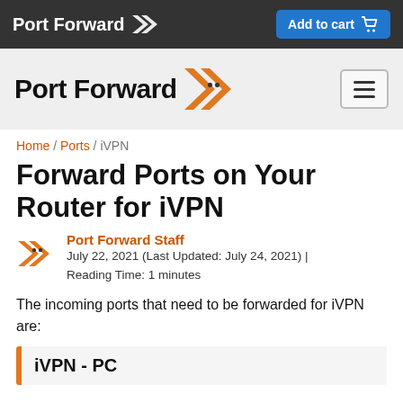Port Forward | Add to cart
[Figure (logo): Port Forward logo with orange chevron icon and hamburger menu button]
Home / Ports / iVPN
Forward Ports on Your Router for iVPN
Port Forward Staff
July 22, 2021 (Last Updated: July 24, 2021) | Reading Time: 1 minutes
The incoming ports that need to be forwarded for iVPN are:
iVPN - PC